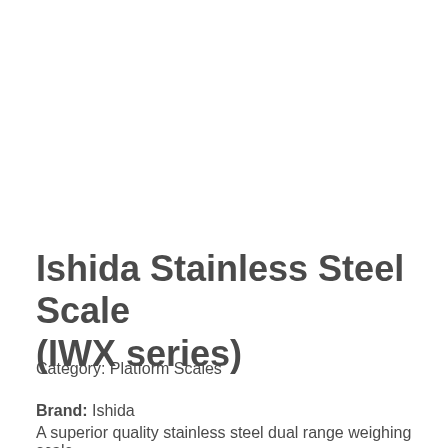Ishida Stainless Steel Scale (IWX series)
Category: Platform Scales
Brand: Ishida
A superior quality stainless steel dual range weighing scale